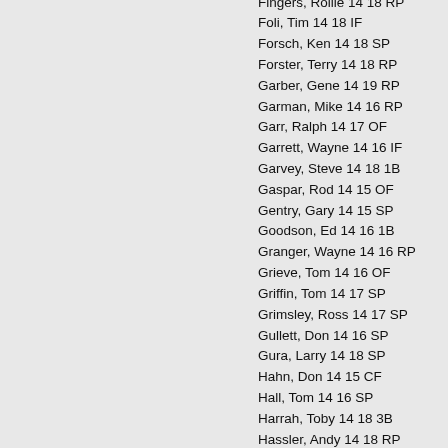Fingers, Rollie 14 18 RP
Foli, Tim 14 18 IF
Forsch, Ken 14 18 SP
Forster, Terry 14 18 RP
Garber, Gene 14 19 RP
Garman, Mike 14 16 RP
Garr, Ralph 14 17 OF
Garrett, Wayne 14 16 IF
Garvey, Steve 14 18 1B
Gaspar, Rod 14 15 OF
Gentry, Gary 14 15 SP
Goodson, Ed 14 16 1B
Granger, Wayne 14 16 RP
Grieve, Tom 14 16 OF
Griffin, Tom 14 17 SP
Grimsley, Ross 14 17 SP
Gullett, Don 14 16 SP
Gura, Larry 14 18 SP
Hahn, Don 14 15 CF
Hall, Tom 14 16 SP
Harrah, Toby 14 18 3B
Hassler, Andy 14 18 RP
Hendricks, Ellie 14 16 C
Hisle, Larry 14 17 OF
Hooton, Burt 14 18 SP